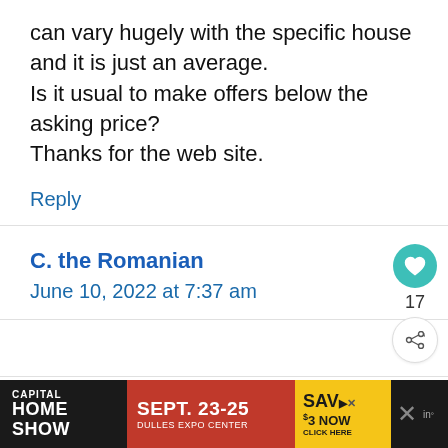can vary hugely with the specific house and it is just an average. Is it usual to make offers below the asking price? Thanks for the web site.
Reply
C. the Romanian
June 10, 2022 at 7:37 am
[Figure (other): Advertisement banner: Capital Home Show, Sept. 23-25, Dulles Expo Center, Save $3 Now, Click Here]
CAPITAL HOME SHOW | SEPT. 23-25 | DULLES EXPO CENTER | SAVE $3 NOW | CLICK HERE